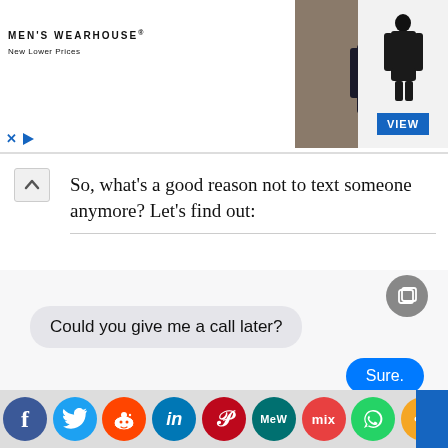[Figure (screenshot): Men's Wearhouse advertisement banner with couple in formal wear and a man in a tuxedo, with a blue VIEW button]
So, what's a good reason not to text someone anymore? Let's find out:
[Figure (screenshot): iPhone text message conversation showing: 'Could you give me a call later?' with reply 'Sure.' and 'Delivered' status]
[Figure (infographic): Social media sharing bar with icons: Facebook, Twitter, Reddit, LinkedIn, Pinterest, MeWe, Mix, WhatsApp, Share]